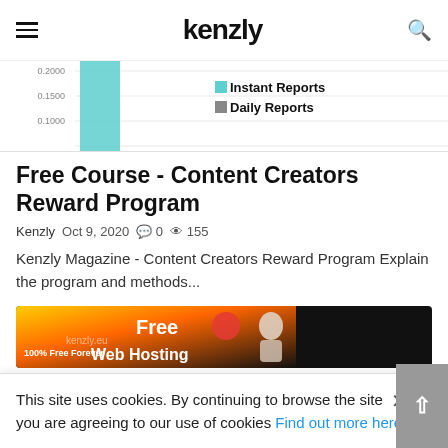kenzly
[Figure (continuous-plot): Partial bar/line chart visible at top of page showing y-axis values 0.1000, 0.1500, 0.2000 and a teal/cyan bar. Legend shows 'Instant Reports' and 'Daily Reports'.]
Free Course - Content Creators Reward Program
Kenzly  Oct 9, 2020  💬 0  👁 155
Kenzly Magazine - Content Creators Reward Program Explain the program and methods...
[Figure (screenshot): Advertisement banner for free web hosting at kenzly.eu — dark background with orange/red gradient, text '100% Free Forever', 'Free', 'Web Hosting', and a white figurine on the right.]
This site uses cookies. By continuing to browse the site you are agreeing to our use of cookies Find out more here